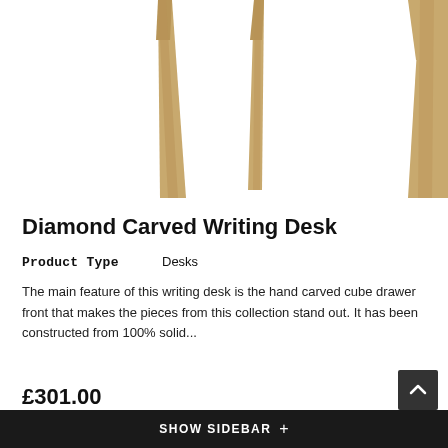[Figure (photo): Close-up photo of wooden desk legs, light oak color, tapered, against a white background — showing the lower portion of a Diamond Carved Writing Desk]
Diamond Carved Writing Desk
Product Type    Desks
The main feature of this writing desk is the hand carved cube drawer front that makes the pieces from this collection stand out. It has been constructed from 100% solid...
£301.00
SHOW SIDEBAR  +